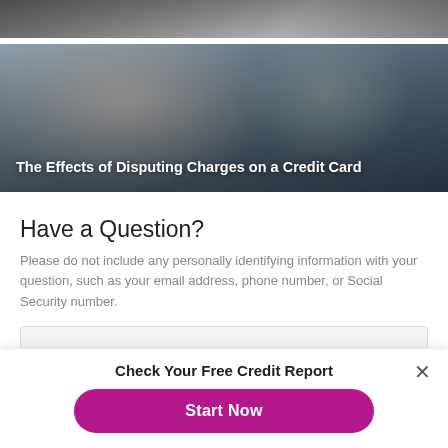[Figure (photo): Partial view of a car-related image strip at the top of the page]
[Figure (photo): A couple smiling and looking at something together, overlaid with article title text]
The Effects of Disputing Charges on a Credit Card
Have a Question?
Please do not include any personally identifying information with your question, such as your email address, phone number, or Social Security number.
Check Your Free Credit Report
Start Now